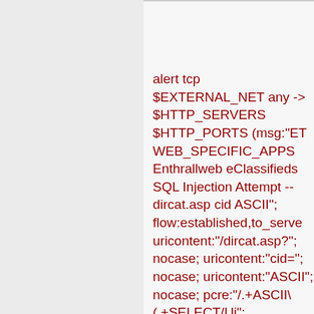alert tcp $EXTERNAL_NET any -> $HTTP_SERVERS $HTTP_PORTS (msg:"ET WEB_SPECIFIC_APPS Enthrallweb eClassifieds SQL Injection Attempt -- dircat.asp cid ASCII"; flow:established,to_server; uricontent:"/dircat.asp?"; nocase; uricontent:"cid="; nocase; uricontent:"ASCII"; nocase; pcre:"/.+ASCII\ (.+SELECT/Ui";